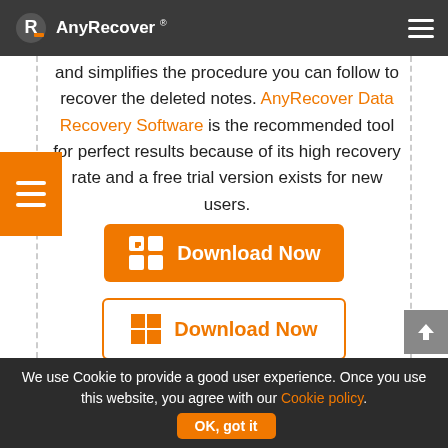AnyRecover ®
and simplifies the procedure you can follow to recover the deleted notes. AnyRecover Data Recovery Software is the recommended tool for perfect results because of its high recovery rate and a free trial version exists for new users.
[Figure (screenshot): Orange download button with Mac icon and text 'Download Now']
[Figure (screenshot): White outlined download button with Windows icon and text 'Download Now' in orange]
We use Cookie to provide a good user experience. Once you use this website, you agree with our Cookie policy. OK, got it